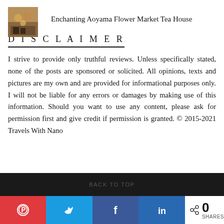[Figure (photo): Small thumbnail photo of tea house or floral cafe setting]
Enchanting Aoyama Flower Market Tea House
DISCLAIMER
I strive to provide only truthful reviews. Unless specifically stated, none of the posts are sponsored or solicited. All opinions, texts and pictures are my own and are provided for informational purposes only. I will not be liable for any errors or damages by making use of this information. Should you want to use any content, please ask for permission first and give credit if permission is granted. © 2015-2021 Travels With Nano
BACK TO TOP
[Figure (infographic): Social share buttons: Pinterest (red), Twitter (blue), Facebook (blue), LinkedIn (blue), share count 0 SHARES]